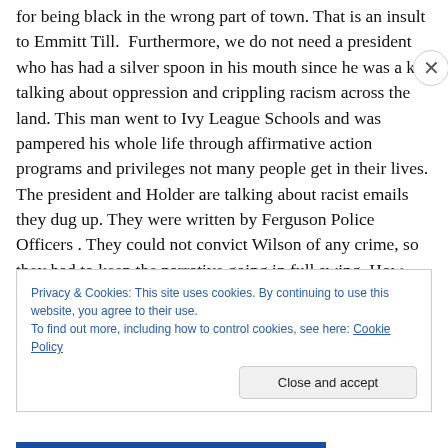for being black in the wrong part of town. That is an insult to Emmitt Till.  Furthermore, we do not need a president who has had a silver spoon in his mouth since he was a kid talking about oppression and crippling racism across the land. This man went to Ivy League Schools and was pampered his whole life through affirmative action programs and privileges not many people get in their lives. The president and Holder are talking about racist emails they dug up. They were written by Ferguson Police Officers . They could not convict Wilson of any crime, so they had to keep the narrative going in full swing. How
Privacy & Cookies: This site uses cookies. By continuing to use this website, you agree to their use.
To find out more, including how to control cookies, see here: Cookie Policy